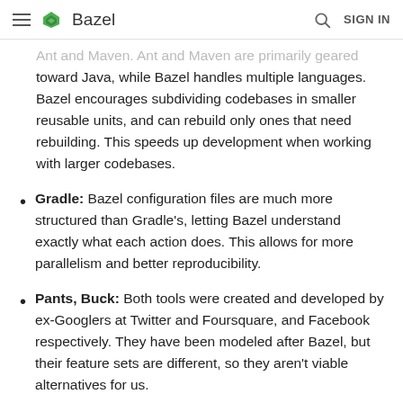Bazel
Ant and Maven. Ant and Maven are primarily geared toward Java, while Bazel handles multiple languages. Bazel encourages subdividing codebases in smaller reusable units, and can rebuild only ones that need rebuilding. This speeds up development when working with larger codebases.
Gradle: Bazel configuration files are much more structured than Gradle's, letting Bazel understand exactly what each action does. This allows for more parallelism and better reproducibility.
Pants, Buck: Both tools were created and developed by ex-Googlers at Twitter and Foursquare, and Facebook respectively. They have been modeled after Bazel, but their feature sets are different, so they aren't viable alternatives for us.